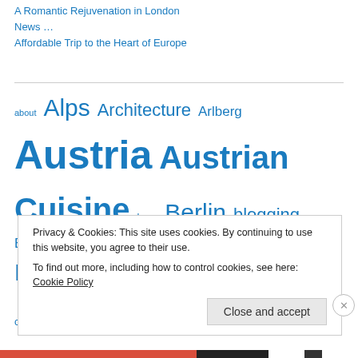A Romantic Rejuvenation in London
News …
Affordable Trip to the Heart of Europe
about Alps Architecture Arlberg Austria Austrian Cuisine beer Berlin blogging Brandenburger Tor Brandnertal Bregenz Bretagne Bundestag castle Central Europe Cornwall Eiffel Tower England eurail Feldkirch France Gerlinde Kaltenbrunner Germany guest post happy heart of
Privacy & Cookies: This site uses cookies. By continuing to use this website, you agree to their use.
To find out more, including how to control cookies, see here: Cookie Policy